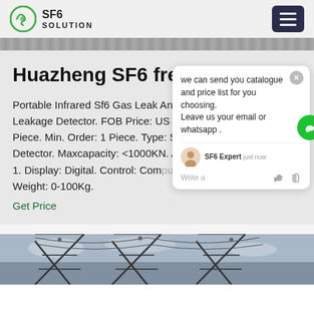SF6 SOLUTION
Huazheng SF6 free cost
Portable Infrared Sf6 Gas Leak Analyzer SF6 Leakage Detector. FOB Price: US $ Piece. Min. Order: 1 Piece. Type: SF6 Detector. Maxcapacity: <1000KN. A 1. Display: Digital. Control: Computer Weight: 0-100Kg.
Get Price
[Figure (screenshot): Chat popup overlay with message: we can send you catalogue and price list for you choosing. Leave us your email or whatsapp. SF6 Expert just now. Write a message icons.]
[Figure (photo): Electrical power transmission tower with cables and sky in background, viewed from below.]